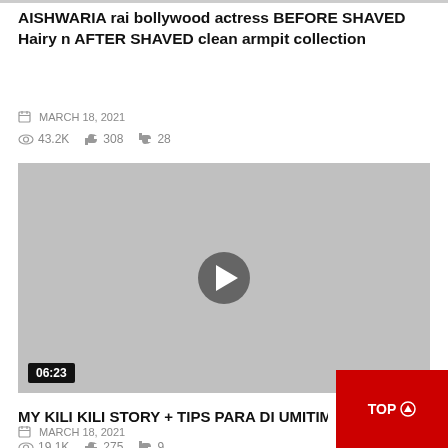AISHWARIA rai bollywood actress BEFORE SHAVED Hairy n AFTER SHAVED clean armpit collection
MARCH 18, 2021
43.2K  308  28
[Figure (other): Video thumbnail placeholder (grey rectangle) with centered play button and duration badge 06:23]
MY KILI KILI STORY + TIPS PARA DI UMITIM | BAM...
MARCH 18, 2021
19.1K  275  9